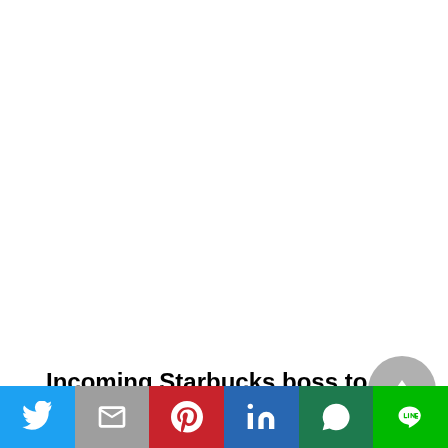Incoming Starbucks boss to bring consumer insight to coffee culture
[Figure (other): Social media share bar with Twitter, Gmail, Pinterest, LinkedIn, WhatsApp, and LINE buttons]